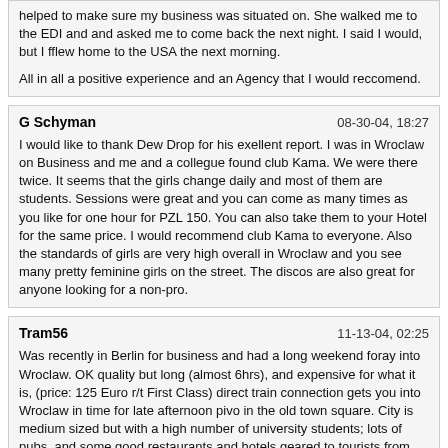helped to make sure my business was situated on. She walked me to the EDI and and asked me to come back the next night. I said I would, but I fflew home to the USA the next morning.

All in all a positive experience and an Agency that I would reccomend.
G Schyman	08-30-04, 18:27
I would like to thank Dew Drop for his exellent report. I was in Wroclaw on Business and me and a collegue found club Kama. We were there twice. It seems that the girls change daily and most of them are students. Sessions were great and you can come as many times as you like for one hour for PZL 150. You can also take them to your Hotel for the same price. I would recommend club Kama to everyone. Also the standards of girls are very high overall in Wroclaw and you see many pretty feminine girls on the street. The discos are also great for anyone looking for a non-pro.
Tram56	11-13-04, 02:25
Was recently in Berlin for business and had a long weekend foray into Wroclaw. OK quality but long (almost 6hrs), and expensive for what it is, (price: 125 Euro r/t First Class) direct train connection gets you into Wroclaw in time for late afternoon pivo in the old town square. City is medium sized but with a high number of university students; lots of pubs, and some good restaurants and hotels geared to tourists from Germany on the square. (all rather inexpensive).

After eyeing the local action, I summized you could spend a very good time here in summer, as there are alot of opportunities on the streets to meet hordes of women, when the weather is fine. September is probably a good time to come here. Wroclaw has a more pleasant, laid back feel than the other more industrialized Polish cities.
I checked out Klub Kama, which was recommended here in these pages, but unfortunately they were booked out for the entire night. As some others have written, it is a friendly and centrally located flat, so the reception lady was most apologetic, and told me they could hook me up with choice women Sunday